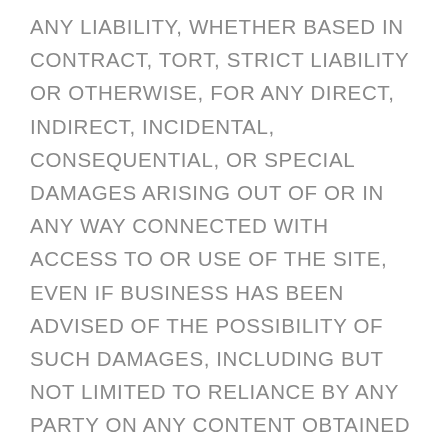ANY LIABILITY, WHETHER BASED IN CONTRACT, TORT, STRICT LIABILITY OR OTHERWISE, FOR ANY DIRECT, INDIRECT, INCIDENTAL, CONSEQUENTIAL, OR SPECIAL DAMAGES ARISING OUT OF OR IN ANY WAY CONNECTED WITH ACCESS TO OR USE OF THE SITE, EVEN IF BUSINESS HAS BEEN ADVISED OF THE POSSIBILITY OF SUCH DAMAGES, INCLUDING BUT NOT LIMITED TO RELIANCE BY ANY PARTY ON ANY CONTENT OBTAINED THROUGH THE USE OF THE SITE, OR THAT ARISES IN CONNECTION WITH MISTAKES OR OMISSIONS IN, OR DELAYS IN TRANSMISSION OF, INFORMATION TO OR FROM THE USER, INTERRUPTIONS IN TELECOMMUNICATIONS CONNECTIONS TO THE SITE OR VIRUSES, WHETHER CAUSED IN WHOLE OR IN PART BY NEGLIGENCE, ACTS OF GOD, TELECOMMUNICATIONS FAILURE, THEFT OR